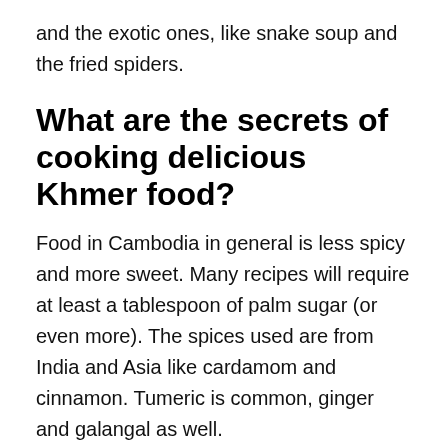and the exotic ones, like snake soup and the fried spiders.
What are the secrets of cooking delicious Khmer food?
Food in Cambodia in general is less spicy and more sweet. Many recipes will require at least a tablespoon of palm sugar (or even more). The spices used are from India and Asia like cardamom and cinnamon. Tumeric is common, ginger and galangal as well.
The classic homemade food is based on what is in the garden and in season. Although thanks to imports from Thailand, China and Vietnam nearly everything is available on the market all year